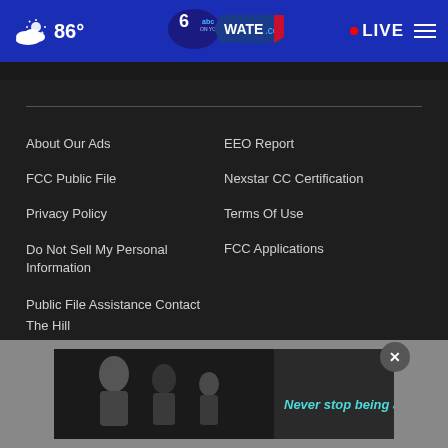86° WATE.com LIVE
About Our Ads
EEO Report
FCC Public File
Nexstar CC Certification
Privacy Policy
Terms Of Use
Do Not Sell My Personal Information
FCC Applications
Public File Assistance Contact
The Hill
[Figure (photo): Advertisement banner showing a black and white photo of adults and children with text 'Never stop being a dad.']